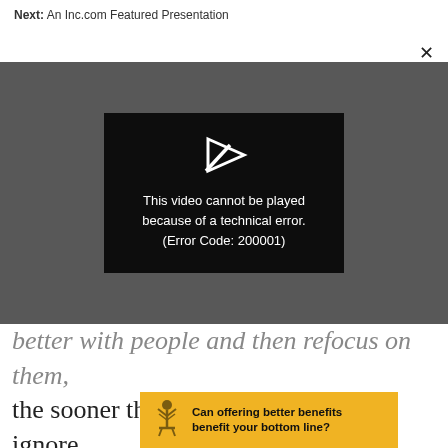Next: An Inc.com Featured Presentation
[Figure (screenshot): Video player showing error message: 'This video cannot be played because of a technical error. (Error Code: 200001)' on dark grey background with black error box and play icon]
better with people and then refocus on them, the sooner they will thrive. You can't ignore technology in business the same way that you goal
[Figure (infographic): Gold/yellow advertisement banner with tree logo: 'Can offering better benefits benefit your bottom line?']